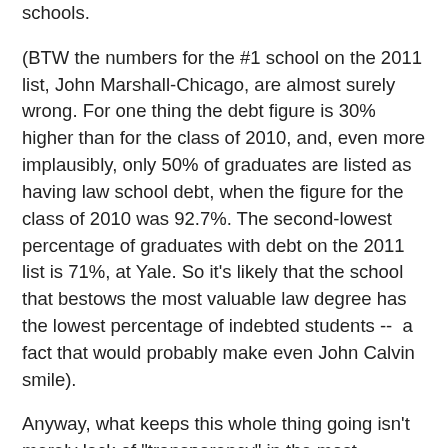schools.
(BTW the numbers for the #1 school on the 2011 list, John Marshall-Chicago, are almost surely wrong. For one thing the debt figure is 30% higher than for the class of 2010, and, even more implausibly, only 50% of graduates are listed as having law school debt, when the figure for the class of 2010 was 92.7%. The second-lowest percentage of graduates with debt on the 2011 list is 71%, at Yale. So it's likely that the school that bestows the most valuable law degree has the lowest percentage of indebted students --  a fact that would probably make even John Calvin smile).
Anyway, what keeps this whole thing going isn't merely lack of "transparency" in the most straightforward sense (important as that lack of transparency has been).  What keeps it going is something DJM emphasizes in her responses to the granting of the motion to dismiss in the NYLS class action suit.  And that's the extent to which law schools are trading on their cultural capital to fool people into thinking that doing something that simply does not make any sense for the vast majority of them to do (going into six